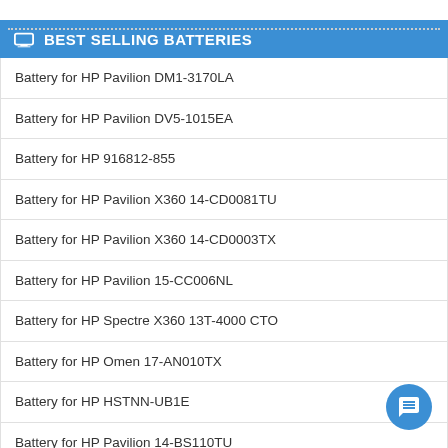BEST SELLING BATTERIES
Battery for HP Pavilion DM1-3170LA
Battery for HP Pavilion DV5-1015EA
Battery for HP 916812-855
Battery for HP Pavilion X360 14-CD0081TU
Battery for HP Pavilion X360 14-CD0003TX
Battery for HP Pavilion 15-CC006NL
Battery for HP Spectre X360 13T-4000 CTO
Battery for HP Omen 17-AN010TX
Battery for HP HSTNN-UB1E
Battery for HP Pavilion 14-BS110TU
Battery for HP Stream 14-AX026NF